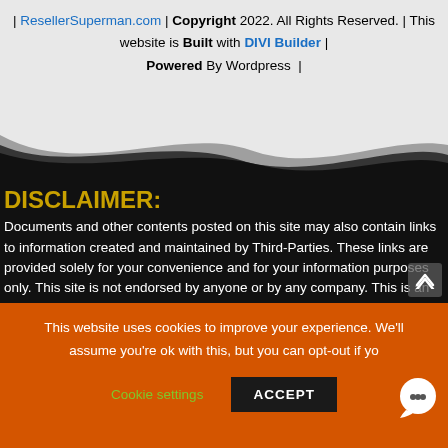| ResellerSuperman.com | Copyright 2022. All Rights Reserved. | This website is Built with DIVI Builder | Powered By Wordpress |
DISCLAIMER:
Documents and other contents posted on this site may also contain links to information created and maintained by Third-Parties. These links are provided solely for your convenience and for your information purposes only. This site is not endorsed by anyone or by any company. This is an independent site. All information (including prices, dates,
This website uses cookies to improve your experience. We'll assume you're ok with this, but you can opt-out if you wish.
Cookie settings   ACCEPT